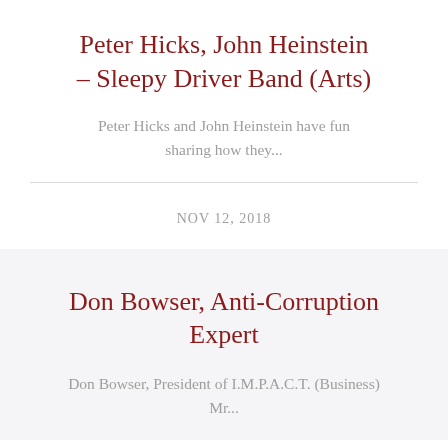Peter Hicks, John Heinstein – Sleepy Driver Band (Arts)
Peter Hicks and John Heinstein have fun sharing how they...
NOV 12, 2018
Don Bowser, Anti-Corruption Expert
Don Bowser, President of I.M.P.A.C.T. (Business) Mr...